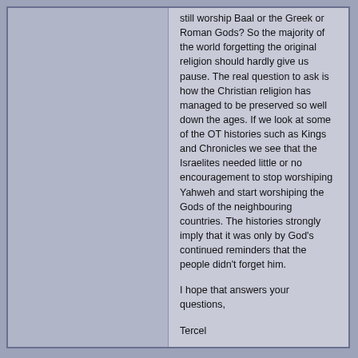still worship Baal or the Greek or Roman Gods? So the majority of the world forgetting the original religion should hardly give us pause. The real question to ask is how the Christian religion has managed to be preserved so well down the ages. If we look at some of the OT histories such as Kings and Chronicles we see that the Israelites needed little or no encouragement to stop worshiping Yahweh and start worshiping the Gods of the neighbouring countries. The histories strongly imply that it was only by God's continued reminders that the people didn't forget him.
I hope that answers your questions,
Tercel